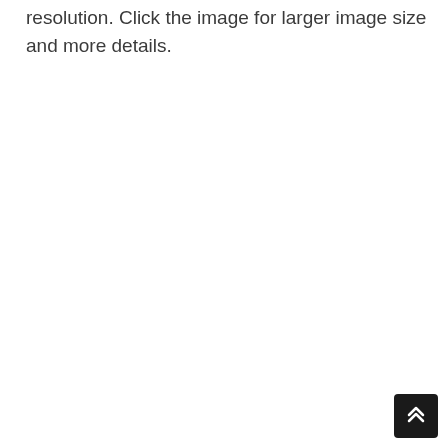resolution. Click the image for larger image size and more details.
[Figure (other): Scroll-to-top button with double chevron up arrow icon, dark background, positioned at bottom right corner]